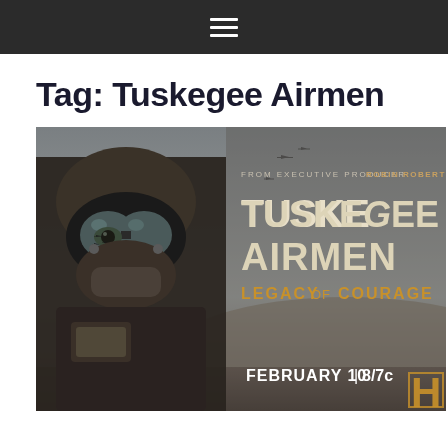≡
Tag: Tuskegee Airmen
[Figure (illustration): Promotional poster for 'Tuskegee Airmen: Legacy of Courage' on History Channel. Shows a WWII pilot in full flight gear with goggles on the left side. Text reads 'FROM EXECUTIVE PRODUCER ROBIN ROBERTS', 'TUSKEGEE AIRMEN', 'LEGACY OF COURAGE', 'FEBRUARY 10 | 8/7c' with the History Channel 'H' logo. Sepia/grey tone with aircraft silhouettes in the background sky.]